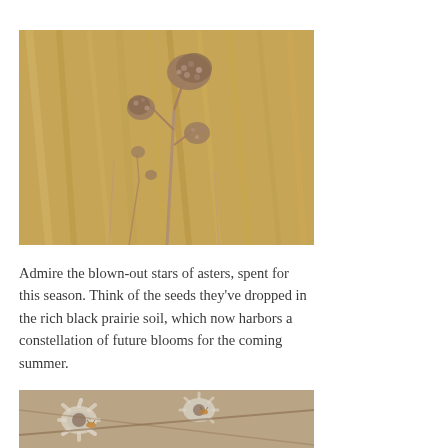[Figure (photo): Close-up photograph of dried aster seed heads on thin stems against a blurred background of golden-brown prairie grasses and stems.]
Admire the blown-out stars of asters, spent for this season. Think of the seeds they've dropped in the rich black prairie soil, which now harbors a constellation of future blooms for the coming summer.
[Figure (photo): Close-up photograph of dried aster flowers with small white petals and brown centers, partially blurred, against a light brown background.]